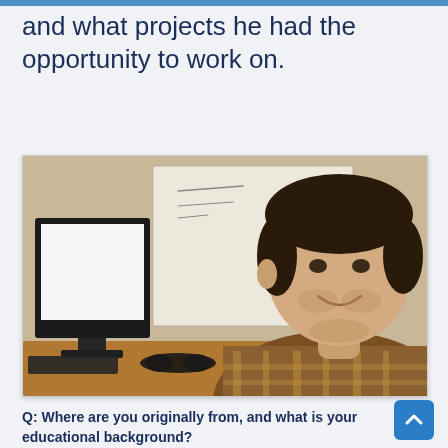and what projects he had the opportunity to work on.
[Figure (photo): A smiling man in a plaid shirt sitting at a desk with a computer monitor and whiteboard in the background.]
Q: Where are you originally from, and what is your educational background?